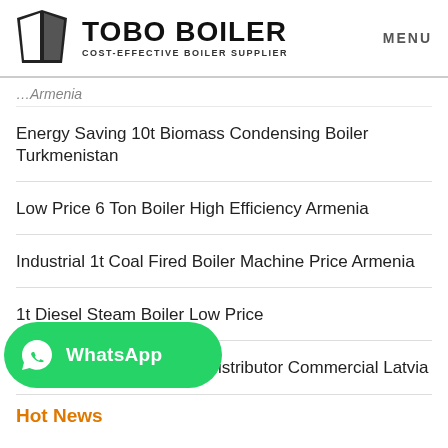TOBO BOILER - COST-EFFECTIVE BOILER SUPPLIER | MENU
...Armenia
Energy Saving 10t Biomass Condensing Boiler Turkmenistan
Low Price 6 Ton Boiler High Efficiency Armenia
Industrial 1t Coal Fired Boiler Machine Price Armenia
1t Diesel Steam Boiler Low Price
2 Ton Diesel Boiler Plant Distributor Commercial Latvia
[Figure (logo): WhatsApp button - green rounded rectangle with WhatsApp icon and text]
Hot News